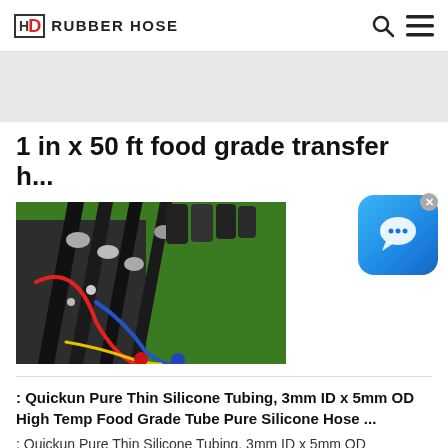HD RUBBER HOSE
1 in x 50 ft food grade transfer h...
[Figure (photo): Close-up photo of hydraulic hoses with colorful connectors (red, blue, yellow) attached to green machinery with multiple fittings and couplings]
[Figure (other): Blue chat/messenger widget icon with speech bubble, with X close button]
: Quickun Pure Thin Silicone Tubing, 3mm ID x 5mm OD High Temp Food Grade Tube Pure Silicone Hose ...
: Quickun Pure Thin Silicone Tubing, 3mm ID x 5mm OD